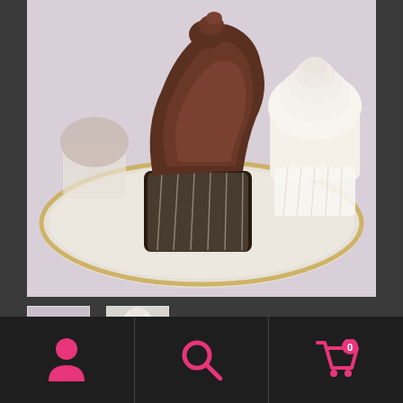[Figure (photo): Product photo of cupcakes on a decorative plate — a large chocolate-frosted cupcake in the center, a white-frosted cupcake to the right, on a floral china plate with soft pink background.]
[Figure (photo): Small thumbnail image 1 — cupcakes on plate, same product shot]
[Figure (photo): Small thumbnail image 2 — white-frosted cupcake close-up]
Cupcake 6 pack – Mother's Day